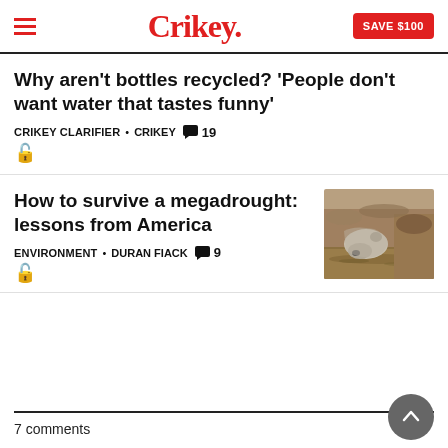Crikey. SAVE $100
Why aren’t bottles recycled? ‘People don’t want water that tastes funny’
CRIKEY CLARIFIER • CRIKEY 19 🔓
How to survive a megadrought: lessons from America
[Figure (photo): A horse drinking from muddy water]
ENVIRONMENT • DURAN FIACK 9 🔓
7 comments